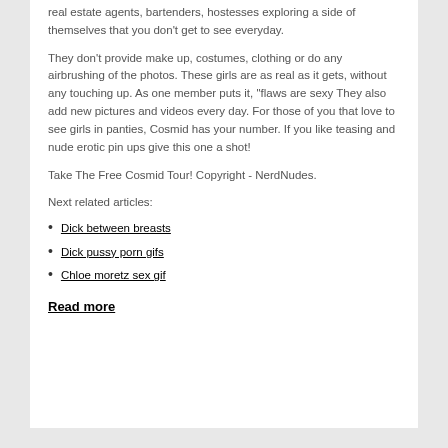real estate agents, bartenders, hostesses exploring a side of themselves that you don't get to see everyday.
They don't provide make up, costumes, clothing or do any airbrushing of the photos. These girls are as real as it gets, without any touching up. As one member puts it, "flaws are sexy They also add new pictures and videos every day. For those of you that love to see girls in panties, Cosmid has your number. If you like teasing and nude erotic pin ups give this one a shot!
Take The Free Cosmid Tour! Copyright - NerdNudes.
Next related articles:
Dick between breasts
Dick pussy porn gifs
Chloe moretz sex gif
Read more